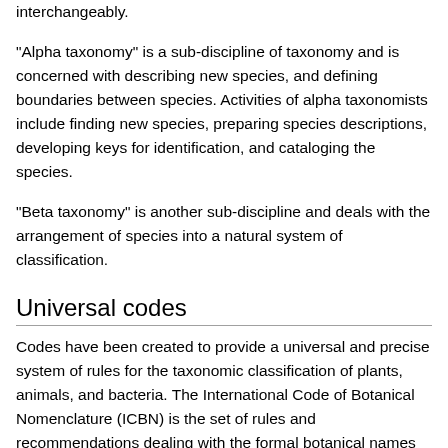interchangeably.
"Alpha taxonomy" is a sub-discipline of taxonomy and is concerned with describing new species, and defining boundaries between species. Activities of alpha taxonomists include finding new species, preparing species descriptions, developing keys for identification, and cataloging the species.
"Beta taxonomy" is another sub-discipline and deals with the arrangement of species into a natural system of classification.
Universal codes
Codes have been created to provide a universal and precise system of rules for the taxonomic classification of plants, animals, and bacteria. The International Code of Botanical Nomenclature (ICBN) is the set of rules and recommendations dealing with the formal botanical names